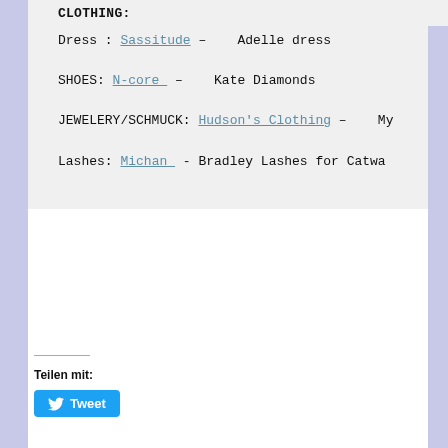CLOTHING:
Dress : Sassitude –   Adelle dress
SHOES: N-core  –   Kate Diamonds
JEWELERY/SCHMUCK: Hudson's Clothing –   My
Lashes: Michan  - Bradley Lashes for Catwa
Teilen mit:
Tweet